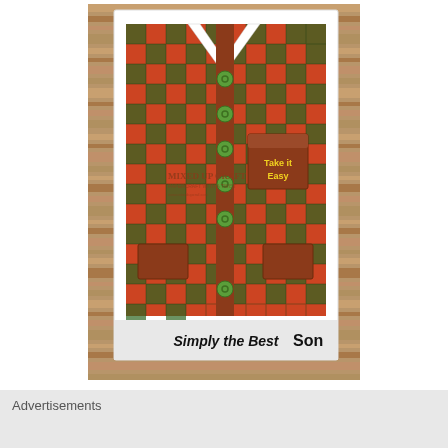[Figure (photo): A handmade craft card shaped like a plaid flannel shirt in red and green check pattern. The shirt has green buttons down the front placket, a white collar, chest pocket with 'Take it Easy' text in yellow on brown, and a banner at the bottom reading 'Simply the Best Son' in bold black text. A 'MIXED UP CRAFT' watermark/logo appears on the card. The card is photographed against a rustic wooden background.]
A checked shirt.
Advertisements